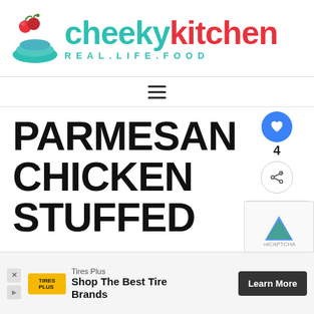[Figure (logo): Cheeky Kitchen logo with bowl icon, cherries, text 'cheekykitchen' in teal and red, tagline 'REAL.LIFE.FOOD']
[Figure (other): Hamburger menu icon (three horizontal lines)]
PARMESAN CHICKEN STUFFED
[Figure (other): Heart/like button (blue circle with heart), count 4, share button]
[Figure (other): WHAT'S NEXT section with Key Lime Pound Cake thumbnail]
[Figure (other): reCAPTCHA logo partial]
[Figure (other): Tires Plus advertisement banner: Shop The Best Tire Brands, Learn More button]